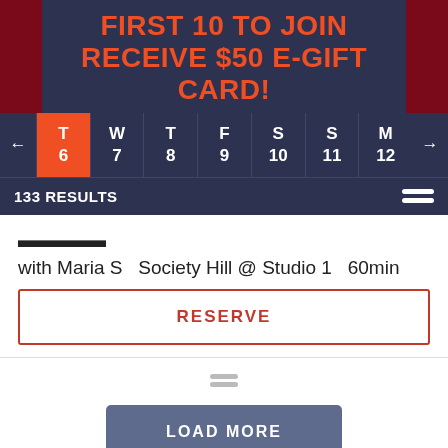FIRST 10 TO JOIN RECEIVE $50 E-GIFT CARD!
[Figure (screenshot): Calendar date selector showing days T(6), W(7), T(8), F(9), S(10), S(11), M(12) with T/6 highlighted in orange]
133 RESULTS
with Maria S   Society Hill @ Studio 1   60min
RESERVE
LOAD MORE